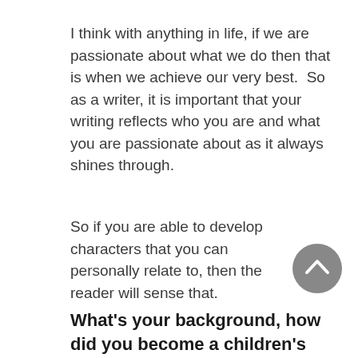I think with anything in life, if we are passionate about what we do then that is when we achieve our very best.  So as a writer, it is important that your writing reflects who you are and what you are passionate about as it always shines through.
So if you are able to develop characters that you can personally relate to, then the reader will sense that.
What's your background, how did you become a children's book author?